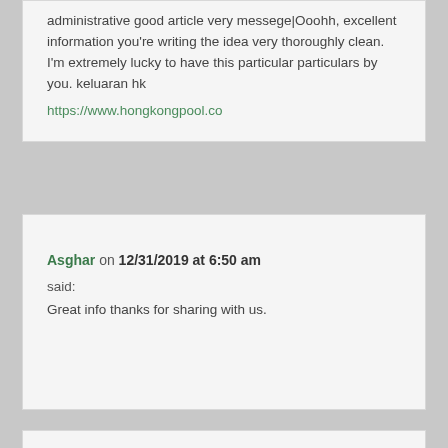administrative good article very messege|Ooohh, excellent information you're writing the idea very thoroughly clean. I'm extremely lucky to have this particular particulars by you. keluaran hk https://www.hongkongpool.co
Asghar on 12/31/2019 at 6:50 am said: Great info thanks for sharing with us.